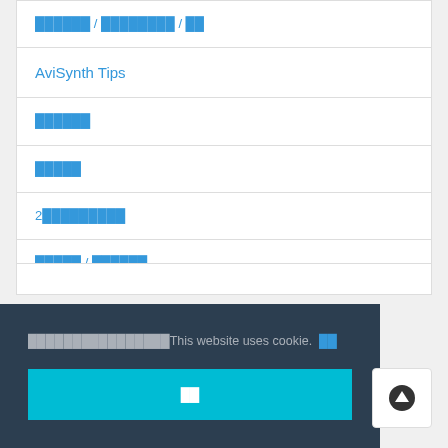██████ / ████████ / ██
AviSynth Tips
██████
█████
2█████████
█████ / ██████
████████████████This website uses cookie. ██
██